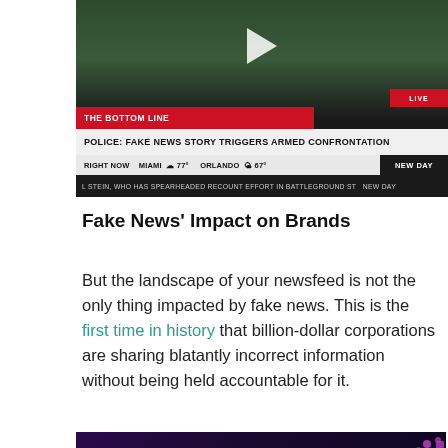[Figure (screenshot): CNN news broadcast screenshot showing a male anchor with US Capitol building background. Lower-third graphics display: 'THE BOTTOM LINE' in red bar, headline 'POLICE: FAKE NEWS STORY TRIGGERS ARMED CONFRONTATION' in white on dark bar with CNN logo. Weather ticker shows RIGHT NOW / MIAMI 77° / ORLANDO 67°. Bottom scroll reads 'L STEIN, WHO HAS SPEARHEADED RECOUNT EFFORT IN BATTLEGROUND ST...' with NEW DAY branding.]
Fake News' Impact on Brands
But the landscape of your newsfeed is not the only thing impacted by fake news. This is the first time in history that billion-dollar corporations are sharing blatantly incorrect information without being held accountable for it.
[Figure (screenshot): TV news studio screenshot showing a blonde female anchor against a dark purple/blue studio background with colorful studio lighting.]